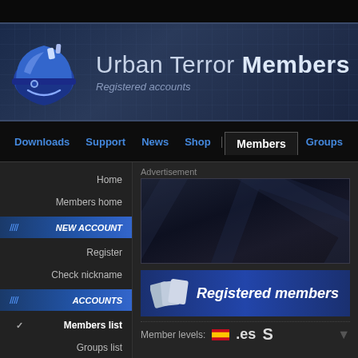[Figure (screenshot): Urban Terror Members website header with blue helmet logo, title 'Urban Terror Members' and subtitle 'Registered accounts']
Urban Terror Members - Registered accounts
Downloads | Support | News | Shop | Members | Groups | Servers | Foru...
Home
Members home
NEW ACCOUNT
Register
Check nickname
ACCOUNTS
Members list
Groups list
Bans list
ADMINS
Urt Staff
Advertisement
[Figure (illustration): Advertisement banner area with dark blue gradient and diagonal stripe pattern]
[Figure (illustration): Registered members banner with card icons and blue gradient]
Registered members
Member levels:
[Figure (illustration): Spanish flag icon .es country code]